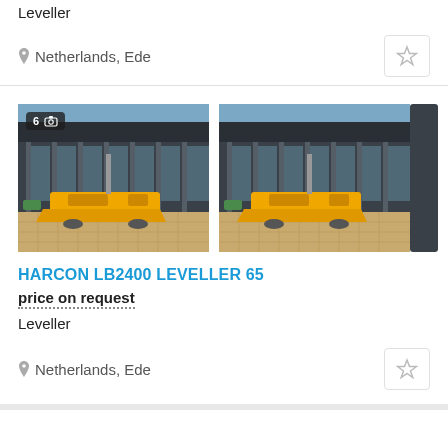Leveller
Netherlands, Ede
[Figure (photo): Two photos of a yellow HARCON LB2400 Leveller 65 machine parked outside a modern industrial building. The left photo has a badge showing '6' and a camera icon. A partial third photo is visible on the right edge.]
HARCON LB2400 LEVELLER 65
price on request
Leveller
Netherlands, Ede